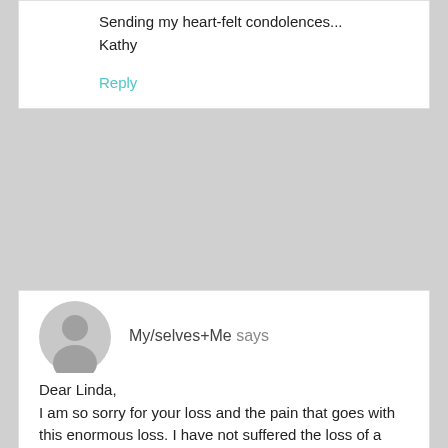Sending my heart-felt condolences...
Kathy
Reply
My/selves+Me says
Dear Linda,
I am so sorry for your loss and the pain that goes with this enormous loss. I have not suffered the loss of a child, and I can't even begin to think of the pain..
You are so right about the difference in pain… and mental illness, trauma and DID.
I too have hoarding and eating disorder..